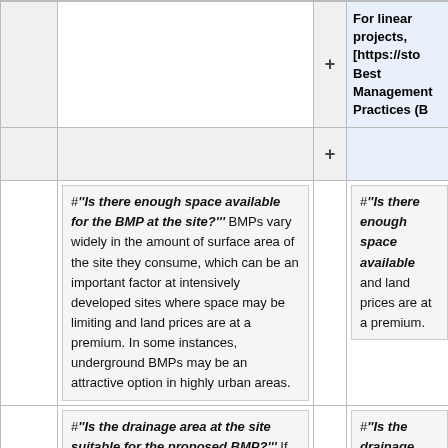|  | + | For linear projects, [https://sto Best Management Practices (B |
|  | + |  |
| #'''Is there enough space available for the BMP at the site?''' BMPs vary widely in the amount of surface area of the site they consume, which can be an important factor at intensively developed sites where space may be limiting and land prices are at a premium. In some instances, underground BMPs may be an attractive option in highly urban areas. |  | #'''Is there enough space available and land prices are at a premium. |
| #'''Is the drainage area at the site suitable for the proposed BMP?''' If the drainage area of the site exceeds the maximum, designers can always use |  | #'''Is the drainage area at the site drainage area thresholds for pon incorporate design features to pre |